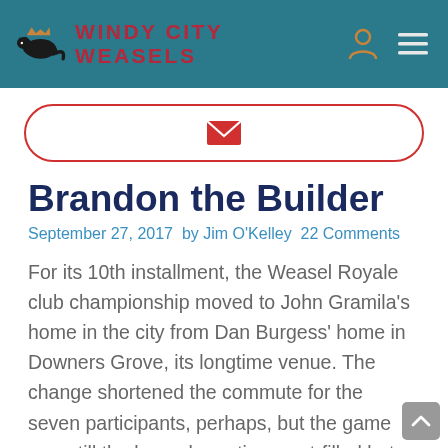WINDY CITY WEASELS
[Figure (other): Email subscribe input bar with envelope icon and red rounded border]
Brandon the Builder
September 27, 2017  by Jim O'Kelley  22 Comments
For its 10th installment, the Weasel Royale club championship moved to John Gramila's home in the city from Dan Burgess' home in Downers Grove, its longtime venue. The change shortened the commute for the seven participants, perhaps, but the game was still the long, dramatic, angst-filled but fun slog that